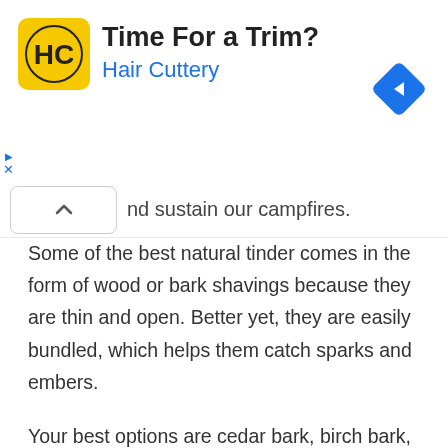[Figure (other): Advertisement banner for Hair Cuttery with yellow logo, 'Time For a Trim?' headline, blue 'Hair Cuttery' subtext, and blue diamond arrow icon on the right]
nd sustain our campfires.
Some of the best natural tinder comes in the form of wood or bark shavings because they are thin and open. Better yet, they are easily bundled, which helps them catch sparks and embers.
Your best options are cedar bark, birch bark, or fatwood. Chances are, you're not going to find the shavings naturally, but you can easily use your knife to create the shavings on your